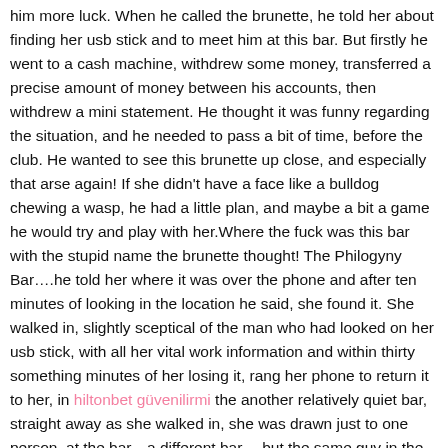him more luck. When he called the brunette, he told her about finding her usb stick and to meet him at this bar. But firstly he went to a cash machine, withdrew some money, transferred a precise amount of money between his accounts, then withdrew a mini statement. He thought it was funny regarding the situation, and he needed to pass a bit of time, before the club. He wanted to see this brunette up close, and especially that arse again! If she didn't have a face like a bulldog chewing a wasp, he had a little plan, and maybe a bit a game he would try and play with her.Where the fuck was this bar with the stupid name the brunette thought! The Philogyny Bar….he told her where it was over the phone and after ten minutes of looking in the location he said, she found it. She walked in, slightly sceptical of the man who had looked on her usb stick, with all her vital work information and within thirty something minutes of her losing it, rang her phone to return it to her, in hiltonbet güvenilirmi the another relatively quiet bar, straight away as she walked in, she was drawn just to one person, at the bar…a different bar….but the same guy in the fitted suit!The blonde and her two mates where now on the other side of the